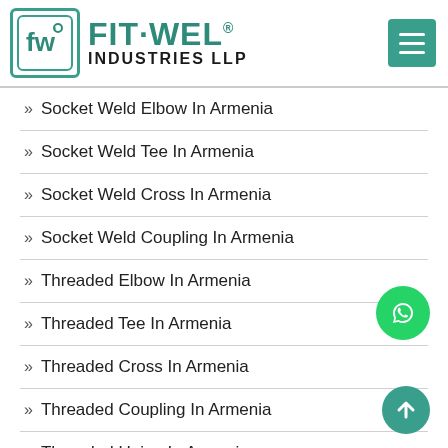[Figure (logo): Fit-Wel Industries LLP logo with teal square icon containing FW letters and company name]
» Socket Weld Elbow In Armenia
» Socket Weld Tee In Armenia
» Socket Weld Cross In Armenia
» Socket Weld Coupling In Armenia
» Threaded Elbow In Armenia
» Threaded Tee In Armenia
» Threaded Cross In Armenia
» Threaded Coupling In Armenia
» Threaded Union In Armenia
» Threaded Plug In Armenia